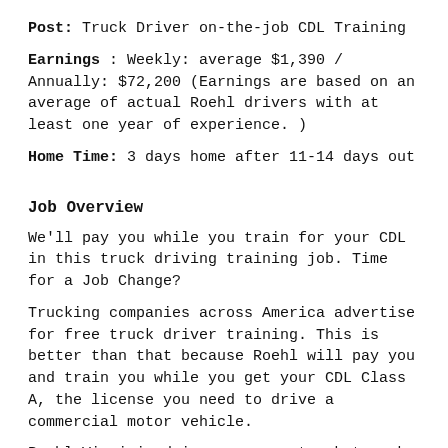Post: Truck Driver on-the-job CDL Training
Earnings: Weekly: average $1,390 / Annually: $72,200 (Earnings are based on an average of actual Roehl drivers with at least one year of experience. )
Home Time: 3 days home after 11-14 days out
Job Overview
We'll pay you while you train for your CDL in this truck driving training job. Time for a Job Change?
Trucking companies across America advertise for free truck driver training. This is better than that because Roehl will pay you and train you while you get your CDL Class A, the license you need to drive a commercial motor vehicle.
Roehl Virginia drivers are on track to make $70,000+! average.